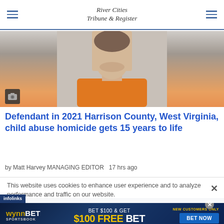River Cities Tribune & Register
[Figure (photo): Mugshot-style photo of a young man in an orange jumpsuit, cropped at shoulders, light background]
Defendant in 2021 Harrison County, West Virginia, child abuse homicide gets 15 years to life
by Matt Harvey MANAGING EDITOR  17 hrs ago
This website uses cookies to enhance user experience and to analyze performance and traffic on our website.
[Figure (infographic): WynnBET Sportsbook advertisement: BET $100 & GET $100 FREE BET. New Customers Only. BET NOW button.]